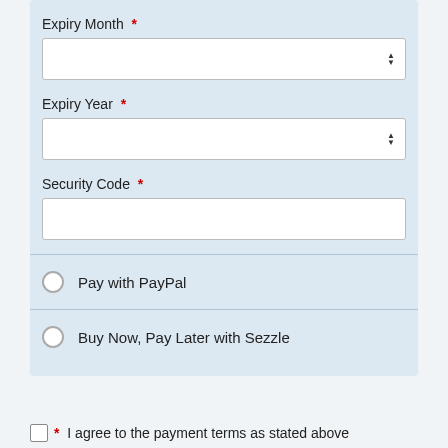Expiry Month *
[Figure (screenshot): Dropdown select input field for Expiry Month with up/down spinner arrows]
Expiry Year *
[Figure (screenshot): Dropdown select input field for Expiry Year with up/down spinner arrows]
Security Code *
[Figure (screenshot): Text input field for Security Code]
Pay with PayPal
Buy Now, Pay Later with Sezzle
* I agree to the payment terms as stated above